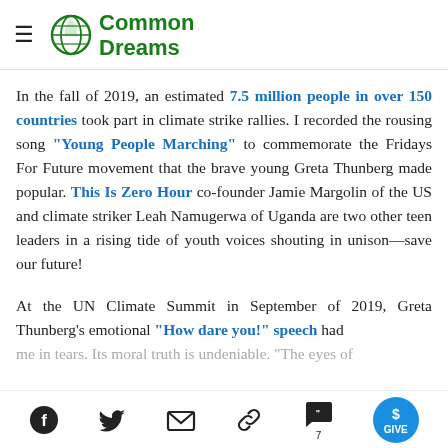Common Dreams
In the fall of 2019, an estimated 7.5 million people in over 150 countries took part in climate strike rallies. I recorded the rousing song "Young People Marching" to commemorate the Fridays For Future movement that the brave young Greta Thunberg made popular. This Is Zero Hour co-founder Jamie Margolin of the US and climate striker Leah Namugerwa of Uganda are two other teen leaders in a rising tide of youth voices shouting in unison—save our future!
At the UN Climate Summit in September of 2019, Greta Thunberg's emotional "How dare you!" speech had me in tears. Its moral truth is undeniable. "The eyes of
[Figure (other): Social media and action toolbar with Facebook, Twitter, email, link, comment (7), and GIVE button icons]